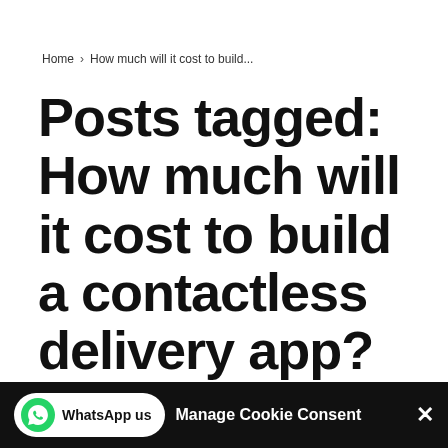Home > How much will it cost to build...
Posts tagged: How much will it cost to build a contactless delivery app?
Manage Cookie Consent